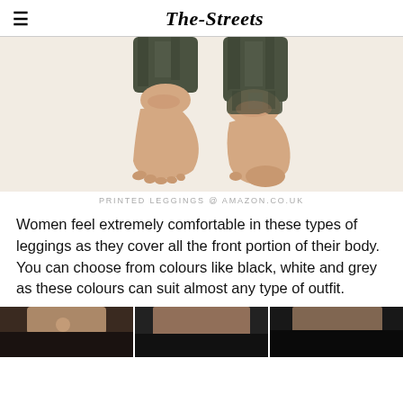The-Streets
[Figure (photo): Close-up photo of bare female feet and ankles wearing camouflage/olive green printed leggings, against a white background.]
PRINTED LEGGINGS @ AMAZON.CO.UK
Women feel extremely comfortable in these types of leggings as they cover all the front portion of their body. You can choose from colours like black, white and grey as these colours can suit almost any type of outfit.
[Figure (photo): Bottom strip showing partial photos of leggings/shorts worn by models, cropped at waist/hip level. Three images side by side.]